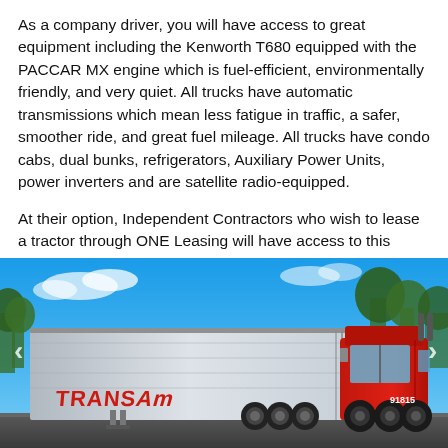As a company driver, you will have access to great equipment including the Kenworth T680 equipped with the PACCAR MX engine which is fuel-efficient, environmentally friendly, and very quiet. All trucks have automatic transmissions which mean less fatigue in traffic, a safer, smoother ride, and great fuel mileage. All trucks have condo cabs, dual bunks, refrigerators, Auxiliary Power Units, power inverters and are satellite radio-equipped.
At their option, Independent Contractors who wish to lease a tractor through ONE Leasing will have access to this same great equipment.
[Figure (photo): A red Trans Am semi-truck with white trailer parked outdoors under a blue sky with trees in the background. The trailer has the TRANSAM logo in red lettering. Truck number 91815 visible.]